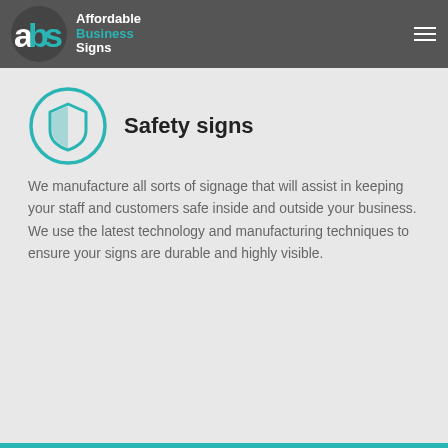Affordable Business Signs
[Figure (logo): ABS logo with shield icon and text: Affordable Business Signs]
Safety signs
We manufacture all sorts of signage that will assist in keeping your staff and customers safe inside and outside your business. We use the latest technology and manufacturing techniques to ensure your signs are durable and highly visible.